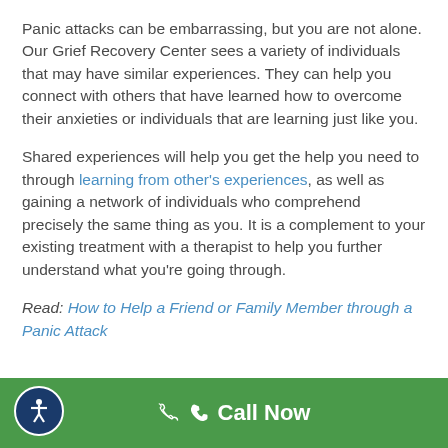Panic attacks can be embarrassing, but you are not alone. Our Grief Recovery Center sees a variety of individuals that may have similar experiences. They can help you connect with others that have learned how to overcome their anxieties or individuals that are learning just like you.
Shared experiences will help you get the help you need to through learning from other's experiences, as well as gaining a network of individuals who comprehend precisely the same thing as you. It is a complement to your existing treatment with a therapist to help you further understand what you're going through.
Read: How to Help a Friend or Family Member through a Panic Attack
[Figure (other): Green footer bar with accessibility icon button on the left (circular dark blue button with white accessibility figure) and 'Call Now' text with phone icon in white on green background]